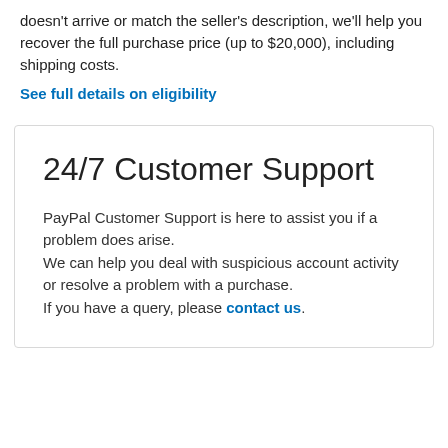doesn't arrive or match the seller's description, we'll help you recover the full purchase price (up to $20,000), including shipping costs.
See full details on eligibility
24/7 Customer Support
PayPal Customer Support is here to assist you if a problem does arise.
We can help you deal with suspicious account activity or resolve a problem with a purchase.
If you have a query, please contact us.